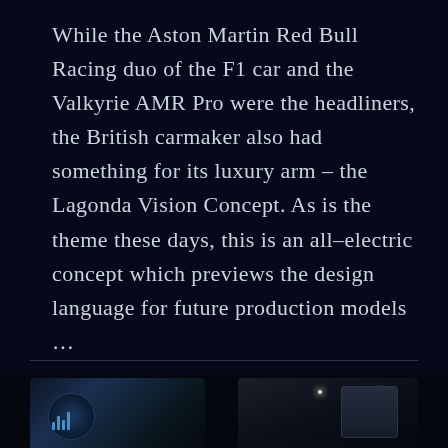While the Aston Martin Red Bull Racing duo of the F1 car and the Valkyrie AMR Pro were the headliners, the British carmaker also had something for its luxury arm – the Lagonda Vision Concept. As is the theme these days, this is an all-electric concept which previews the design language for future production models ...
CONTINUE READING
[Figure (photo): Bottom portion of page showing two dark automotive interior/exterior photos side by side against a very dark navy background, separated by a horizontal divider line]